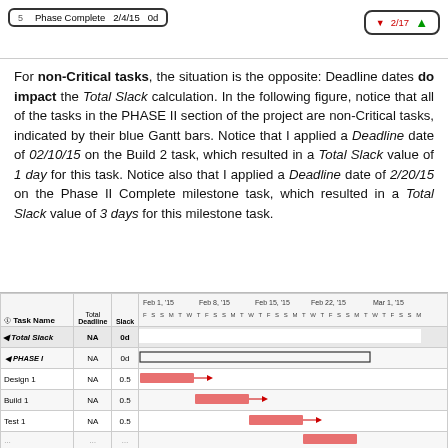[Figure (screenshot): Top strip showing a table row with 'Phase Complete 2/4/15 0d' in a rounded rectangle on the left, and a red arrow with '$2/17' and green up arrow on the right in a rounded rectangle]
For non-Critical tasks, the situation is the opposite: Deadline dates do impact the Total Slack calculation. In the following figure, notice that all of the tasks in the PHASE II section of the project are non-Critical tasks, indicated by their blue Gantt bars. Notice that I applied a Deadline date of 02/10/15 on the Build 2 task, which resulted in a Total Slack value of 1 day for this task. Notice also that I applied a Deadline date of 2/20/15 on the Phase II Complete milestone task, which resulted in a Total Slack value of 3 days for this milestone task.
[Figure (screenshot): MS Project Gantt chart table showing tasks: Total Slack (NA, 0d), PHASE I (NA, 0d), Design 1 (NA, 0.5), Build 1 (NA, 0.5), Test 1 (NA, 0.5), and a partially visible fifth row, with Gantt bars visible on the right side showing red bars for critical tasks]